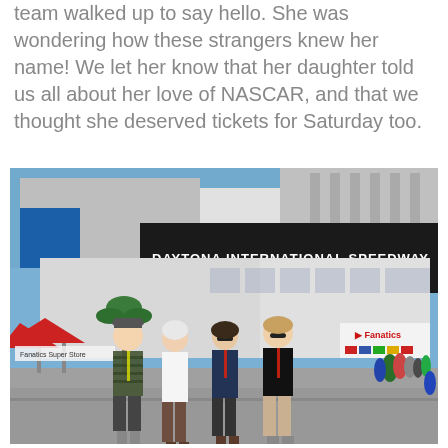team walked up to say hello. She was wondering how these strangers knew her name! We let her know that her daughter told us all about her love of NASCAR, and that we thought she deserved tickets for Saturday too.
[Figure (photo): Four people posing for a photo outside Daytona International Speedway on a sunny day. The large white building behind them displays 'DAYTONA INTERNATIONAL SPEEDWAY' in large black letters. There are crowds of people in the background, a Fanatics store sign visible on the right, a Fanatics Super Store sign on the left, red tent umbrellas, and a blue sky with clouds.]